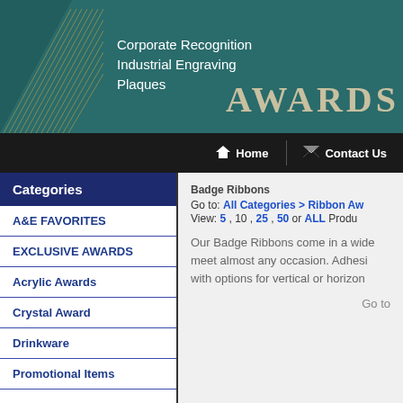[Figure (logo): Awards company header banner with teal background, gold triangle line decoration on left, white text listing Corporate Recognition, Industrial Engraving, Plaques, and AWARDS text logo on right]
Home | Contact Us
Categories
A&E FAVORITES
EXCLUSIVE AWARDS
Acrylic Awards
Crystal Award
Drinkware
Promotional Items
Badge Ribbons
Go to: All Categories > Ribbon Aw... View: 5 , 10 , 25 , 50 or ALL Produ...
Our Badge Ribbons come in a wide... meet almost any occasion. Adhesi... with options for vertical or horizon...
Go to